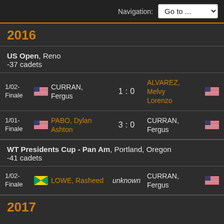Navigation: Go to ...
2016
US Open, Reno
-37 cadets
| Round | Flag | Player | Score | Player | Flag |
| --- | --- | --- | --- | --- | --- |
| 1/02-Finale | US | CURRAN, Fergus | 1 : 0 | ALVAREZ, Melvy Lorenzo | US |
| 1/01-Finale | US | PABO, Dylan Ashton | 3 : 0 | CURRAN, Fergus | US |
WT Presidents Cup - Pan Am, Portland, Oregon
-41 cadets
| Round | Flag | Player | Score | Player | Flag |
| --- | --- | --- | --- | --- | --- |
| 1/02-Finale | JM | LOWE, Rasheed | unknown | CURRAN, Fergus | US |
2017